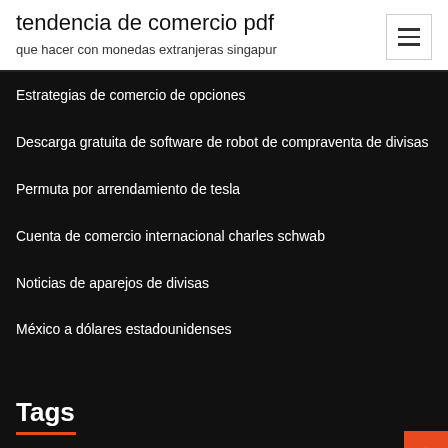tendencia de comercio pdf
que hacer con monedas extranjeras singapur
Estrategias de comercio de opciones
Descarga gratuita de software de robot de compraventa de divisas
Permuta por arrendamiento de tesla
Cuenta de comercio internacional charles schwab
Noticias de aparejos de divisas
México a dólares estadounidenses
Tags
¿cómo se determinan los precios bajo competencia perfecta_